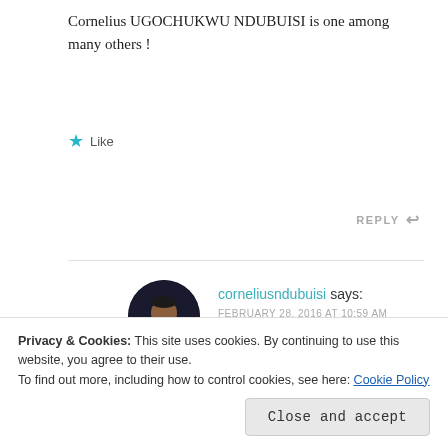Cornelius UGOCHUKWU NDUBUISI is one among many others !
★ Like
REPLY ↩
[Figure (photo): Avatar photo of corneliusndubuisi, a man in a black suit]
corneliusndubuisi says:
FEBRUARY 28, 2016 AT 10:59 AM
Wow!
Privacy & Cookies: This site uses cookies. By continuing to use this website, you agree to their use.
To find out more, including how to control cookies, see here: Cookie Policy
Close and accept